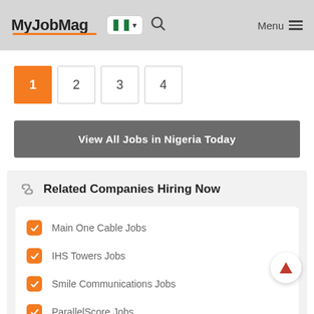MyJobMag — Navigation header with logo, Nigeria flag selector, search icon, and Menu button
Pagination: 1 (active), 2, 3, 4
View All Jobs in Nigeria Today
Related Companies Hiring Now
Main One Cable Jobs
IHS Towers Jobs
Smile Communications Jobs
ParallelScore Jobs